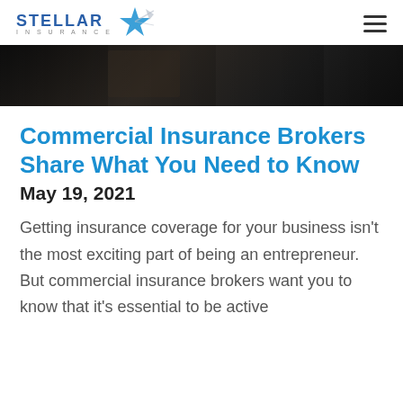STELLAR INSURANCE
[Figure (photo): Dark-toned hero image showing a blurred office or business scene with dark background]
Commercial Insurance Brokers Share What You Need to Know
May 19, 2021
Getting insurance coverage for your business isn't the most exciting part of being an entrepreneur. But commercial insurance brokers want you to know that it's essential to be active